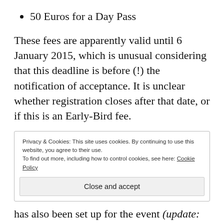50 Euros for a Day Pass
These fees are apparently valid until 6 January 2015, which is unusual considering that this deadline is before (!) the notification of acceptance. It is unclear whether registration closes after that date, or if this is an Early-Bird fee.
Privacy & Cookies: This site uses cookies. By continuing to use this website, you agree to their use.
To find out more, including how to control cookies, see here: Cookie Policy
Close and accept
has also been set up for the event (update: link no